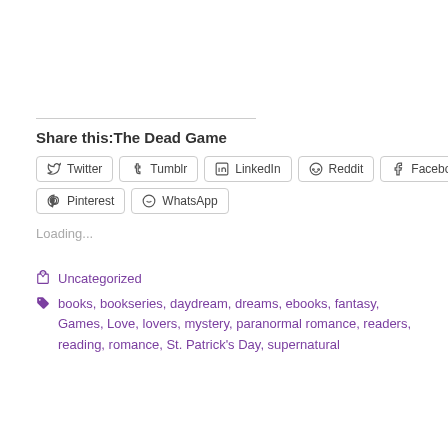Share this:The Dead Game
[Figure (screenshot): Social media share buttons: Twitter, Tumblr, LinkedIn, Reddit, Facebook, Pinterest, WhatsApp]
Loading...
Uncategorized
books, bookseries, daydream, dreams, ebooks, fantasy, Games, Love, lovers, mystery, paranormal romance, readers, reading, romance, St. Patrick's Day, supernatural